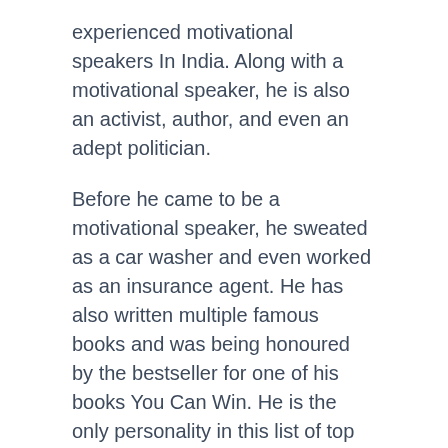experienced motivational speakers In India. Along with a motivational speaker, he is also an activist, author, and even an adept politician.
Before he came to be a motivational speaker, he sweated as a car washer and even worked as an insurance agent. He has also written multiple famous books and was being honoured by the bestseller for one of his books You Can Win. He is the only personality in this list of top motivational speakers who speaks at seminars and conferences abroad as well.
Simerjeet Singh